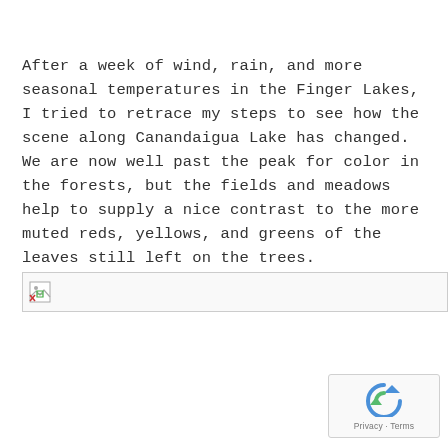After a week of wind, rain, and more seasonal temperatures in the Finger Lakes, I tried to retrace my steps to see how the scene along Canandaigua Lake has changed. We are now well past the peak for color in the forests, but the fields and meadows help to supply a nice contrast to the more muted reds, yellows, and greens of the leaves still left on the trees.
[Figure (other): Broken image placeholder showing a small broken image icon inside a bordered rectangle spanning the width of the content area.]
[Figure (other): Google reCAPTCHA widget in bottom-right corner showing the reCAPTCHA logo (blue and green arrow circle) with Privacy and Terms links below.]